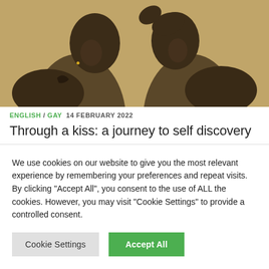[Figure (photo): Two shirtless men facing each other, foreheads nearly touching, in an intimate pose. Sepia/warm toned photograph. One man has a tattoo on his shoulder.]
ENGLISH / GAY  14 FEBRUARY 2022
Through a kiss: a journey to self discovery
We use cookies on our website to give you the most relevant experience by remembering your preferences and repeat visits. By clicking "Accept All", you consent to the use of ALL the cookies. However, you may visit "Cookie Settings" to provide a controlled consent.
Cookie Settings   Accept All